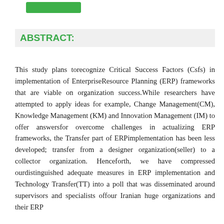ABSTRACT:
This study plans torecognize Critical Success Factors (Csfs) in implementation of EnterpriseResource Planning (ERP) frameworks that are viable on organization success.While researchers have attempted to apply ideas for example, Change Management(CM), Knowledge Management (KM) and Innovation Management (IM) to offer answersfor overcome challenges in actualizing ERP frameworks, the Transfer part of ERPimplementation has been less developed; transfer from a designer organization(seller) to a collector organization. Henceforth, we have compressed ourdistinguished adequate measures in ERP implementation and Technology Transfer(TT) into a poll that was disseminated around supervisors and specialists offour Iranian huge organizations and their ERP